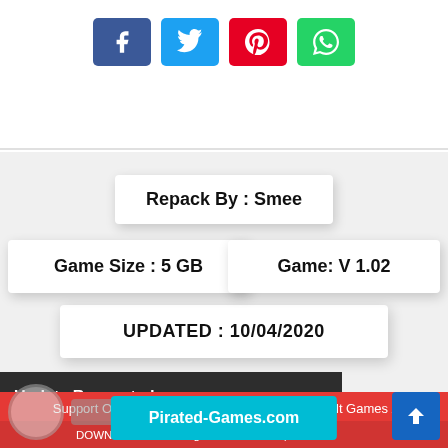[Figure (infographic): Social share buttons: Facebook (blue), Twitter (cyan), Pinterest (red), WhatsApp (green)]
Repack By : Smee
Game Size : 5 GB
Game: V 1.02
UPDATED : 10/04/2020
Update Requested
Making*Lovers Free Download (v1.02 &
Support Our Other Sites , Updated Games & Adult Games / Pirated-Games.com & Fap-World.com
DOWNLOAD » Making*Lovers v1.02 | Repack-Ga...
Pirated-Games.com